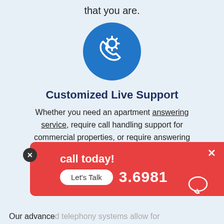that you are.
[Figure (illustration): Blue circle icon with a phone handset and gear/settings cog symbol in white]
Customized Live Support
Whether you need an apartment answering service, require call handling support for commercial properties, or require answering service support for any type of real estate, we offer a full list of customized call center services nee... m...
[Figure (screenshot): Red popup overlay with a close circle button, text 'Give us a call today!', a 'Let's Talk' white button, and a phone number ending in 3.6981, with a chat bubble icon]
Our advanced telephony systems allow for